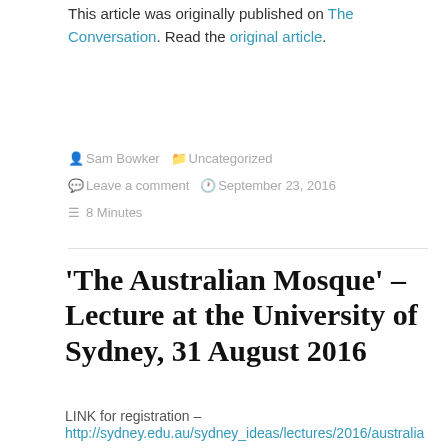This article was originally published on The Conversation. Read the original article.
Sam Bowker  Uncategorized  Leave a comment  September 23, 2016  8 Minutes
'The Australian Mosque' – Lecture at the University of Sydney, 31 August 2016
LINK for registration – http://sydney.edu.au/sydney_ideas/lectures/2016/australian_mosque_forum.shtml